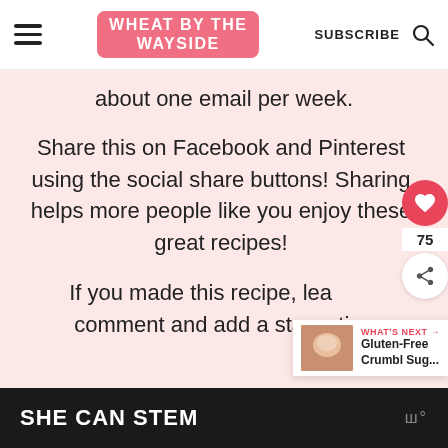[Figure (logo): Wheat By The Wayside logo in pink rounded rectangle with white text]
about one email per week.
Share this on Facebook and Pinterest using the social share buttons! Sharing helps more people like you enjoy these great recipes!
If you made this recipe, lea... comment and add a star-rating
WHAT'S NEXT → Gluten-Free Crumbl Sug...
SHE CAN STEM